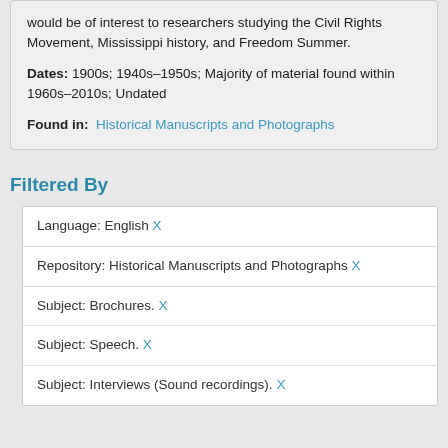would be of interest to researchers studying the Civil Rights Movement, Mississippi history, and Freedom Summer.
Dates: 1900s; 1940s–1950s; Majority of material found within 1960s–2010s; Undated
Found in:  Historical Manuscripts and Photographs
Filtered By
Language: English X
Repository: Historical Manuscripts and Photographs X
Subject: Brochures. X
Subject: Speech. X
Subject: Interviews (Sound recordings). X